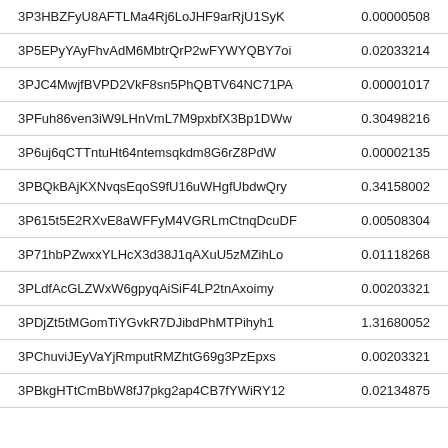| 3P3HBZFyU8AFTLMa4Rj6LoJHF9arRjU1SyK | 0.00000508 |
| 3P5EPyYAyFhvAdM6MbtrQrP2wFYWYQBY7oi | 0.02033214 |
| 3PJC4MwjfBVPD2VkF8sn5PhQBTV64NC71PA | 0.00001017 |
| 3PFuh86ven3iW9LHnVmL7M9pxbfX3Bp1DWw | 0.30498216 |
| 3P6uj6qCTTntuHt64ntemsqkdm8G6rZ8PdW | 0.00002135 |
| 3PBQkBAjKXNvqsEqoS9fU16uWHgfUbdwQry | 0.34158002 |
| 3P615t5E2RXvE8aWFFyM4VGRLmCtnqDcuDF | 0.00508304 |
| 3P71hbPZwxxYLHcX3d38J1qAXuU5zMZihLo | 0.01118268 |
| 3PLdfAcGLZWxW6gpyqAiSiF4LP2tnAxoimy | 0.00203321 |
| 3PDjZt5tMGomTiYGvkR7DJibdPhMTPihyh1 | 1.31680052 |
| 3PChuviJEyVaYjRmputRMZhtG69g3PzEpxs | 0.00203321 |
| 3PBkgHTtCmBbW8fJ7pkg2ap4CB7fYWiRY12 | 0.02134875 |